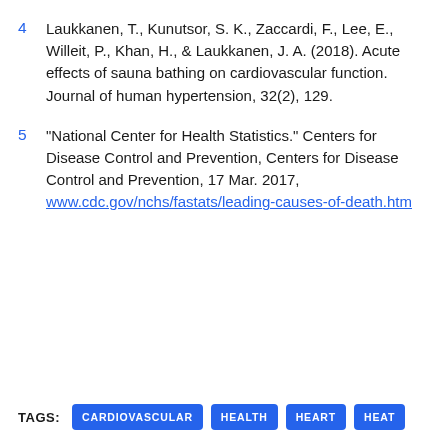4  Laukkanen, T., Kunutsor, S. K., Zaccardi, F., Lee, E., Willeit, P., Khan, H., & Laukkanen, J. A. (2018). Acute effects of sauna bathing on cardiovascular function. Journal of human hypertension, 32(2), 129.
5  "National Center for Health Statistics." Centers for Disease Control and Prevention, Centers for Disease Control and Prevention, 17 Mar. 2017, www.cdc.gov/nchs/fastats/leading-causes-of-death.htm
TAGS: CARDIOVASCULAR  HEALTH  HEART  HEAT